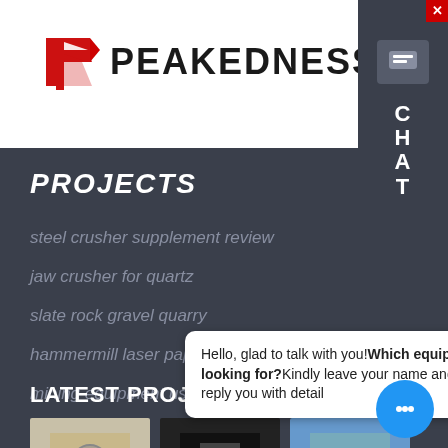[Figure (logo): Peakedness company logo with red arrow/P icon and bold black text]
PROJECTS
steel crusher supplement review
jaw crusher for quartz
slate rock gravel quarry
hammermill laser paper 32 lb
mining equipment used in zimbabwe
LATEST PROJECTS
[Figure (photo): Three project thumbnail photos showing mining/construction equipment]
Hello, glad to talk with you!Which equipment you are looking for?Kindly leave your name and email add, we will reply you with detail